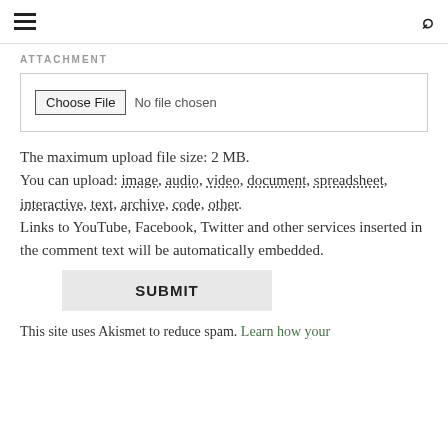≡  🔍
ATTACHMENT
[Figure (screenshot): File input widget with 'Choose File' button and 'No file chosen' text]
The maximum upload file size: 2 MB.
You can upload: image, audio, video, document, spreadsheet, interactive, text, archive, code, other.
Links to YouTube, Facebook, Twitter and other services inserted in the comment text will be automatically embedded.
SUBMIT
This site uses Akismet to reduce spam. Learn how your